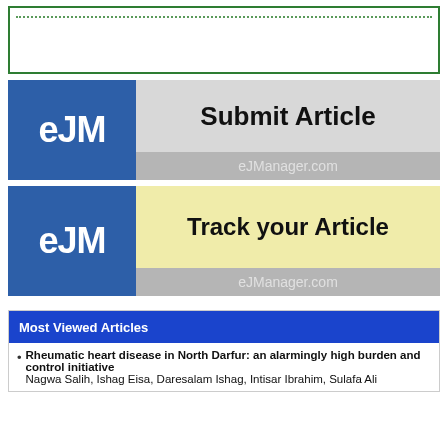[Figure (other): Empty box with green border and dotted green line near top]
[Figure (other): eJM Submit Article banner with blue logo block and gray background, eJManager.com URL]
[Figure (other): eJM Track your Article banner with blue logo block and yellow background, eJManager.com URL]
Most Viewed Articles
Rheumatic heart disease in North Darfur: an alarmingly high burden and control initiative
Nagwa Salih, Ishag Eisa, Daresalam Ishag, Intisar Ibrahim, Sulafa Ali